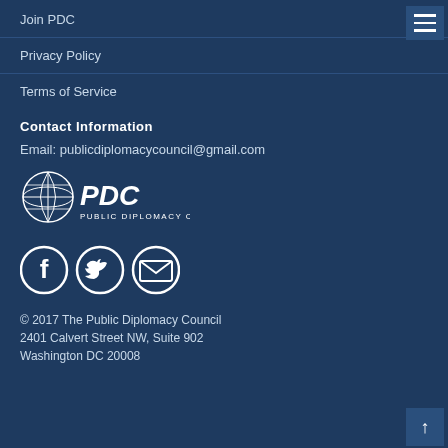Join PDC
Privacy Policy
Terms of Service
Contact Information
Email: publicdiplomacycouncil@gmail.com
[Figure (logo): Public Diplomacy Council (PDC) logo with globe icon and text]
[Figure (illustration): Social media icons: Facebook, Twitter, Email]
© 2017 The Public Diplomacy Council
2401 Calvert Street NW, Suite 902
Washington DC 20008